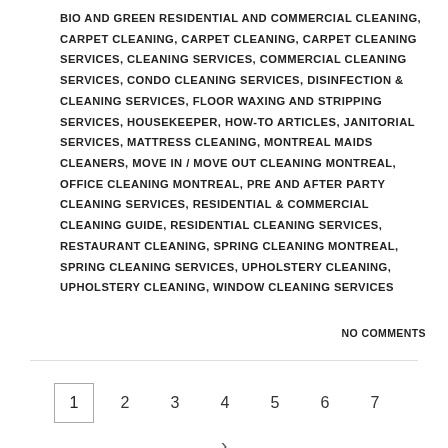BIO AND GREEN RESIDENTIAL AND COMMERCIAL CLEANING, CARPET CLEANING, CARPET CLEANING, CARPET CLEANING SERVICES, CLEANING SERVICES, COMMERCIAL CLEANING SERVICES, CONDO CLEANING SERVICES, DISINFECTION & CLEANING SERVICES, FLOOR WAXING AND STRIPPING SERVICES, HOUSEKEEPER, HOW-TO ARTICLES, JANITORIAL SERVICES, MATTRESS CLEANING, MONTREAL MAIDS CLEANERS, MOVE IN / MOVE OUT CLEANING MONTREAL, OFFICE CLEANING MONTREAL, PRE AND AFTER PARTY CLEANING SERVICES, RESIDENTIAL & COMMERCIAL CLEANING GUIDE, RESIDENTIAL CLEANING SERVICES, RESTAURANT CLEANING, SPRING CLEANING MONTREAL, SPRING CLEANING SERVICES, UPHOLSTERY CLEANING, UPHOLSTERY CLEANING, WINDOW CLEANING SERVICES
NO COMMENTS
1
2
3
4
5
6
7
>